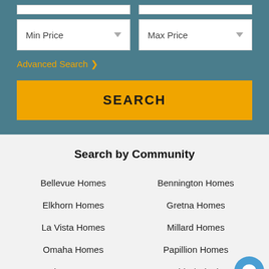[Figure (screenshot): Search interface panel with teal background, Min Price and Max Price dropdowns, Advanced Search link, and yellow SEARCH button]
Advanced Search >
Search by Community
Bellevue Homes
Bennington Homes
Elkhorn Homes
Gretna Homes
La Vista Homes
Millard Homes
Omaha Homes
Papillion Homes
Ralston Homes
Westside / District 66